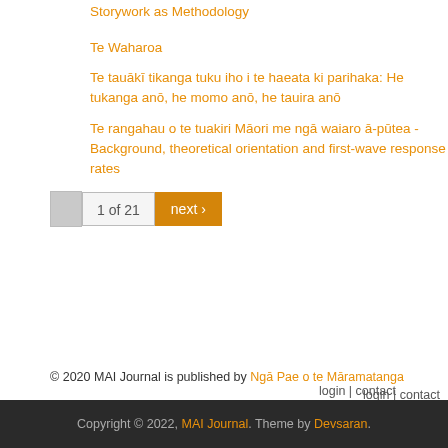Storywork as Methodology
Te Waharoa
Te tauākī tikanga tuku iho i te haeata ki parihaka: He tukanga anō, he momo anō, he tauira anō
Te rangahau o te tuakiri Māori me ngā waiaro ā-pūtea - Background, theoretical orientation and first-wave response rates
1 of 21
© 2020 MAI Journal is published by Ngā Pae o te Māramatanga
login | contact
Copyright © 2022, MAI Journal. Theme by Devsaran.